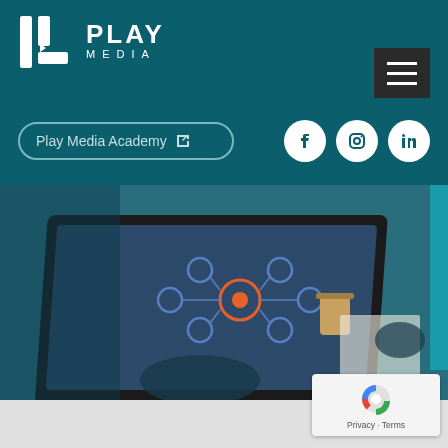[Figure (logo): Play Media logo: geometric icon with white bars and a play button triangle, with text PLAY MEDIA]
[Figure (screenshot): Website header screenshot showing Play Media navigation bar with logo, hamburger menu, search pill for Play Media Academy with external link icon, and social media icons for Facebook, Instagram, LinkedIn, followed by a hero image of a person using a laptop with a network diagram on screen and another person writing notes, with a coffee cup visible]
Play Media Academy
[Figure (photo): Hero photo: person typing on laptop showing a colorful network/mind map diagram, another hand writing in notebook, coffee cup on desk, teal overlay]
Privacy · Terms